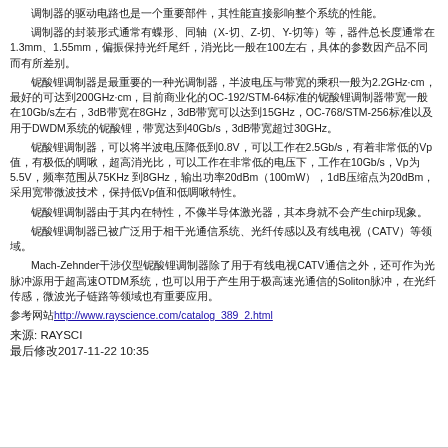调制器的驱动电路也是一个重要部件，其性能直接影响整个系统的性能。
调制器的封装形式通常有蝶形、同轴（X-切、Z-切、Y-切等）等，器件总长度通常在1.3mm、1.55mm，偏振保持光纤尾纤，消光比一般在100左右，具体的参数因产品不同而有所差别。
铌酸锂调制器是最重要的一种光调制器，半波电压与带宽的乘积一般为2.2GHz·cm，最好的可达到200GHz·cm，目前商业化的OC-192/STM-64标准的铌酸锂调制器带宽一般在10Gb/s左右，3dB带宽在8GHz，3dB带宽可以达到15GHz，OC-768/STM-256标准以及用于DWDM系统的铌酸锂，带宽达到40Gb/s，3dB带宽超过30GHz。
铌酸锂调制器，可以将半波电压降低到0.8V，可以工作在2.5Gb/s，有着非常低的Vp值，有极低的啁啾，超高消光比，可以工作在非常低的电压下，工作在10Gb/s，Vp为5.5V，频率范围从75KHz 到8GHz，输出功率20dBm（100mW），1dB压缩点为20dBm，采用宽带微波技术，保持低Vp值和低啁啾特性。
铌酸锂调制器由于其内在特性，不像半导体激光器，其本身就不会产生chirp现象。
铌酸锂调制器已被广泛用于相干光通信系统、光纤传感以及有线电视（CATV）等领域。
Mach-Zehnder干涉仪型铌酸锂调制器除了用于有线电视CATV通信之外，还可作为光脉冲源用于超高速OTDM系统，也可以用于产生用于极高速光通信的Soliton脉冲，在光纤传感，微波光子链路等领域也有重要应用。
参考网站http://www.rayscience.com/catalog_389_2.html
来源: RAYSCI
最后修改2017-11-22 10:35